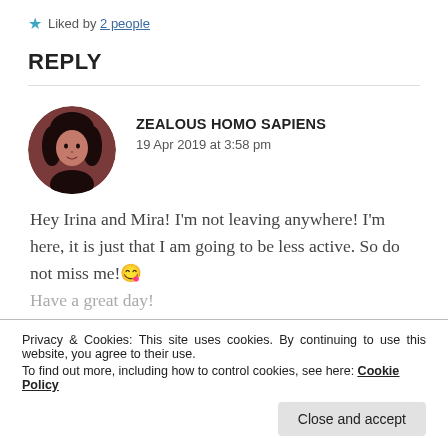Liked by 2 people
REPLY
[Figure (photo): Circular avatar photo of a person with dark hair against a dark reddish-brown background]
ZEALOUS HOMO SAPIENS
19 Apr 2019 at 3:58 pm
Hey Irina and Mira! I'm not leaving anywhere! I'm here, it is just that I am going to be less active. So do not miss me! 😉
Have a great day!
Privacy & Cookies: This site uses cookies. By continuing to use this website, you agree to their use.
To find out more, including how to control cookies, see here: Cookie Policy
Close and accept